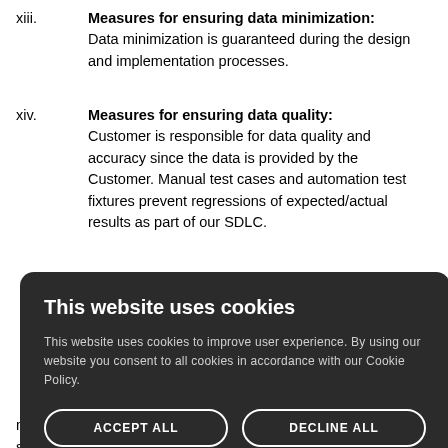xiii. Measures for ensuring data minimization: Data minimization is guaranteed during the design and implementation processes.
xiv. Measures for ensuring data quality: Customer is responsible for data quality and accuracy since the data is provided by the Customer. Manual test cases and automation test fixtures prevent regressions of expected/actual results as part of our SDLC.
xv. Measures for ensuring data retention: [partially obscured] ...due to the nature ...ts, data will be ...ver, the process ...designed by ...ary storage ...t within and ...omer Azure
...line items ...quired to manage migration status on a user/owner basis. All such project metadata is purged after 180 days of
This website uses cookies. This website uses cookies to improve user experience. By using our website you consent to all cookies in accordance with our Cookie Policy. ACCEPT ALL. DECLINE ALL. SHOW DETAILS.